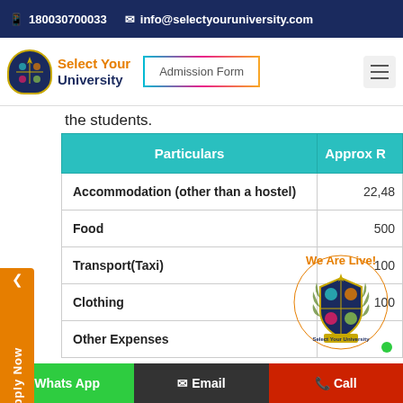180030700033   info@selectyouruniversity.com
[Figure (logo): Select Your University logo with shield emblem, orange and navy text]
the students.
| Particulars | Approx R |
| --- | --- |
| Accommodation (other than a hostel) | 22,48 |
| Food | 500 |
| Transport(Taxi) | 100 |
| Clothing | 100 |
| Other Expenses |  |
Note: 1$ = 70 Rs
Whats App   Email   Call